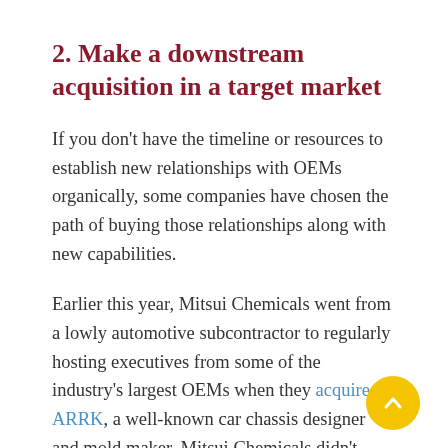2. Make a downstream acquisition in a target market
If you don't have the timeline or resources to establish new relationships with OEMs organically, some companies have chosen the path of buying those relationships along with new capabilities.
Earlier this year, Mitsui Chemicals went from a lowly automotive subcontractor to regularly hosting executives from some of the industry's largest OEMs when they acquired ARRK, a well-known car chassis designer and mold maker. Mitsui Chemicals didn't have a huge presence in automotive, and the investment wasn't small ($247MM), but they saw that the automotive industry was undergoing massive disruption